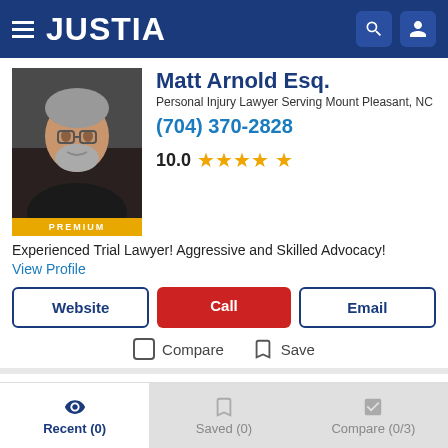JUSTIA
Matt Arnold Esq.
Personal Injury Lawyer Serving Mount Pleasant, NC
(704) 370-2828
10.0 ★★★★★
Experienced Trial Lawyer! Aggressive and Skilled Advocacy!
View Profile
Website | Call | Email
Compare  Save
Kimberly Olsinski Esq.
Recent (0)  Saved (0)  Compare (0/3)